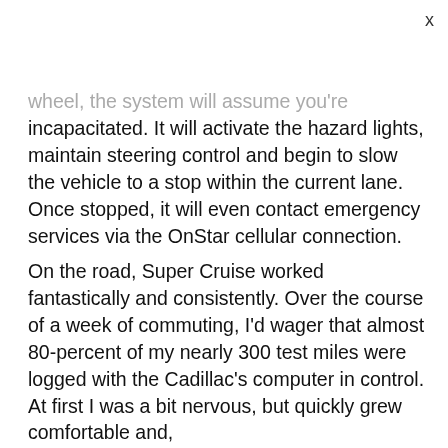x
wheel, the system will assume you're incapacitated. It will activate the hazard lights, maintain steering control and begin to slow the vehicle to a stop within the current lane. Once stopped, it will even contact emergency services via the OnStar cellular connection.
On the road, Super Cruise worked fantastically and consistently. Over the course of a week of commuting, I'd wager that almost 80-percent of my nearly 300 test miles were logged with the Cadillac's computer in control. At first I was a bit nervous, but quickly grew comfortable and, surprisingly, more relaxed with the tech in